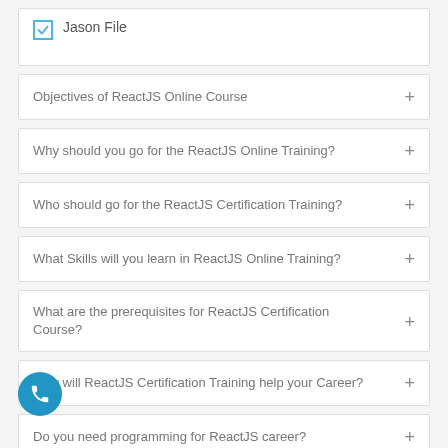Jason File
Objectives of ReactJS Online Course
Why should you go for the ReactJS Online Training?
Who should go for the ReactJS Certification Training?
What Skills will you learn in ReactJS Online Training?
What are the prerequisites for ReactJS Certification Course?
How will ReactJS Certification Training help your Career?
Do you need programming for ReactJS career?